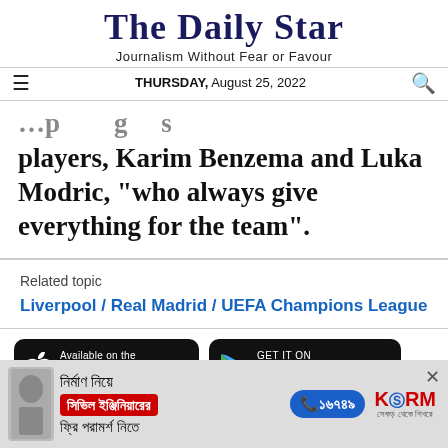The Daily Star
Journalism Without Fear or Favour
THURSDAY, August 25, 2022
players, Karim Benzema and Luka Modric, "who always give everything for the team".
Related topic
Liverpool / Real Madrid / UEFA Champions League
[Figure (screenshot): App Store and Google Play store badges for downloading the app]
[Figure (advertisement): Bengali language advertisement for civil engineering consultation services with phone number 16749 and KSRM brand logo]